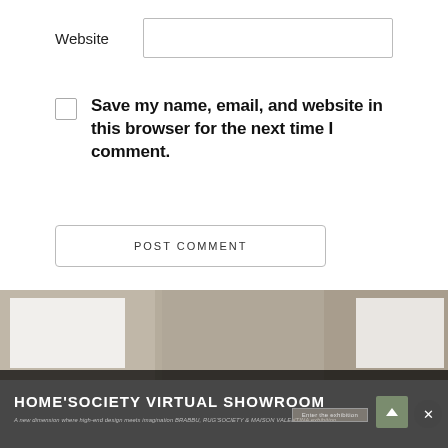Website
Save my name, email, and website in this browser for the next time I comment.
POST COMMENT
[Figure (screenshot): HOME'SOCIETY VIRTUAL SHOWROOM banner at the bottom of the page with a dark overlay, showing a subtitle: 'A new dimension where high-end design meets imagination BRABBU, RUG'SOCIETY & MAISON VALENTINA exhibition', along with a scroll-up button and close button.]